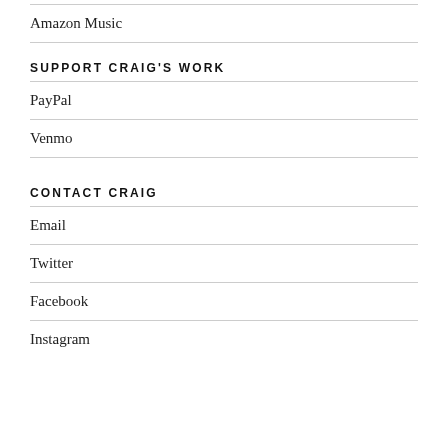Amazon Music
SUPPORT CRAIG'S WORK
PayPal
Venmo
CONTACT CRAIG
Email
Twitter
Facebook
Instagram